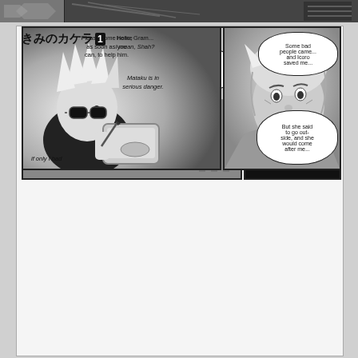[Figure (illustration): Top strip showing partial manga panel in grayscale with action scene]
きみのカケラ 1
[Figure (illustration): Upper left manga panel: overhead/bird's-eye view of a ransacked room interior in grayscale. Speech bubble left: 'Who would do such a thing...?' Speech bubble right: 'This is terrible...']
[Figure (illustration): Upper right manga panel: night scene with large full moon, snow or feathers falling, dark silhouette of buildings and trees]
[Figure (illustration): Lower left manga panel: character with spiky white hair holding a phone. Text reads: 'Please come home as soon as you can, to help him.' 'Hello, Gram... I mean, Shah?' 'Mataku is in serious danger.' 'If only I had']
[Figure (illustration): Lower right manga panel: close-up of distressed character's face. Speech bubbles: 'Some bad people came... and Icoro saved me...' 'But she said to go outside, and she would come after me...']